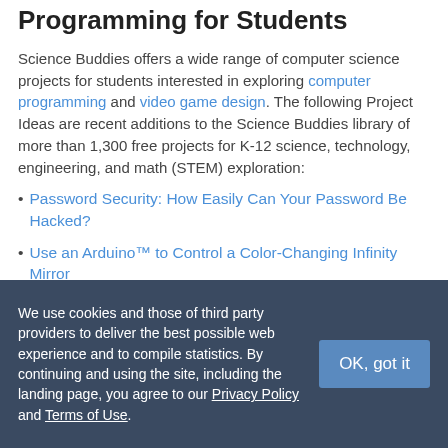Programming for Students
Science Buddies offers a wide range of computer science projects for students interested in exploring computer programming and video game design. The following Project Ideas are recent additions to the Science Buddies library of more than 1,300 free projects for K-12 science, technology, engineering, and math (STEM) exploration:
Password Security: How Easily Can Your Password Be Hacked?
Use an Arduino™ to Control a Color-Changing Infinity Mirror
We use cookies and those of third party providers to deliver the best possible web experience and to compile statistics. By continuing and using the site, including the landing page, you agree to our Privacy Policy and Terms of Use.